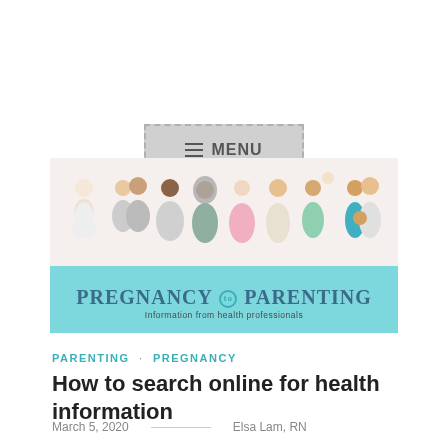[Figure (screenshot): Gray dashed-border MENU button with hamburger icon]
[Figure (photo): Pregnancy to Parenting website banner showing diverse pregnant women, couples, and parents with babies. Light blue banner with 'PREGNANCY to PARENTING' text and tagline 'Information from health professionals']
PARENTING · PREGNANCY
How to search online for health information
March 5, 2020    Elsa Lam, RN